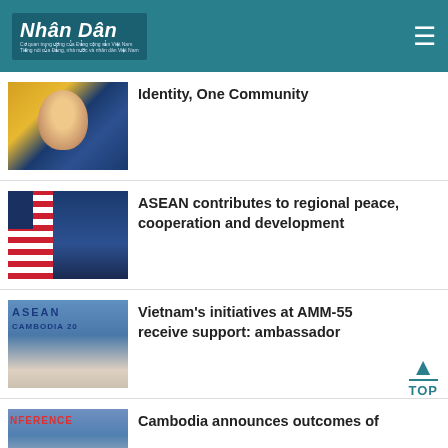Nhân Dân — Cơ quan Trung ương của Đảng Cộng sản Việt Nam, Tiếng nói của Đảng, Nhà nước và Nhân dân Việt Nam
Identity, One Community
[Figure (photo): Portrait of a Vietnamese official man in suit with tie, Vietnamese flag in background]
ASEAN contributes to regional peace, cooperation and development
[Figure (photo): Man in suit in front of US flag with stars and stripes]
Vietnam's initiatives at AMM-55 receive support: ambassador
[Figure (photo): Man at ASEAN Cambodia 2022 event, conference setting]
Cambodia announces outcomes of
[Figure (photo): Partial photo showing conference signage with NFERENCE text]